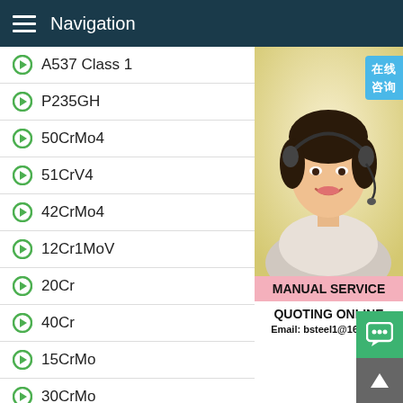Navigation
A537 Class 1
P235GH
50CrMo4
51CrV4
42CrMo4
12Cr1MoV
20Cr
40Cr
15CrMo
30CrMo
35CrMo
[Figure (photo): Customer service representative wearing headset, with Chinese text badge '在线咨询' (Online Consultation), MANUAL SERVICE label, QUOTING ONLINE and Email: bsteel1@163.com]
MANUAL SERVICE
QUOTING ONLINE
Email: bsteel1@163.com